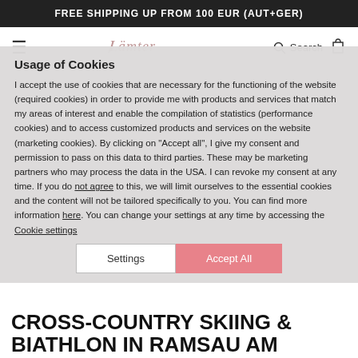FREE SHIPPING UP FROM 100 EUR (AUT+GER)
Usage of Cookies
I accept the use of cookies that are necessary for the functioning of the website (required cookies) in order to provide me with products and services that match my areas of interest and enable the compilation of statistics (performance cookies) and to access customized products and services on the website (marketing cookies). By clicking on "Accept all", I give my consent and permission to pass on this data to third parties. These may be marketing partners who may process the data in the USA. I can revoke my consent at any time. If you do not agree to this, we will limit ourselves to the essential cookies and the content will not be tailored specifically to you. You can find more information here. You can change your settings at any time by accessing the Cookie settings
Settings
Accept All
CROSS-COUNTRY SKIING & BIATHLON IN RAMSAU AM